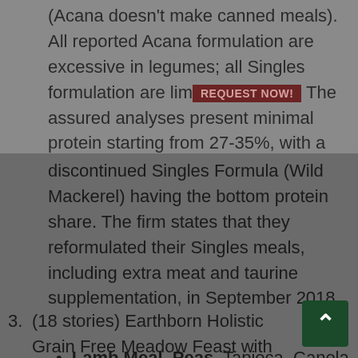(Acana doesn't make canned meals). All reported Acana formulation are excessive in legumes; all Singles formulation are limited-ingredient. The assured analyses present minimal protein starting from 27-35%, with a discontinued Singles Formula (Wild Mackerel) having the bottom protein share. The firm states that they reformulated their Singles meals, including extra meat and taurine supplementation, in September 2018.
3. (18 stories) Earthborn Holistic Grain Free Meadow Feast with Lamb Meal (dry):
Lamb Meal, Peas, Tapioca, Canola Oil (preserved with Mixed Tocopherols). Pea